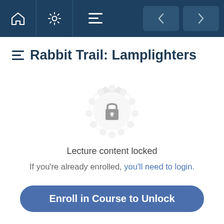Navigation bar with home, settings, menu icons and back/forward buttons
Rabbit Trail: Lamplighters
[Figure (illustration): Circular badge/seal icon with a padlock in the center, indicating locked content]
Lecture content locked
If you're already enrolled, you'll need to login.
Enroll in Course to Unlock